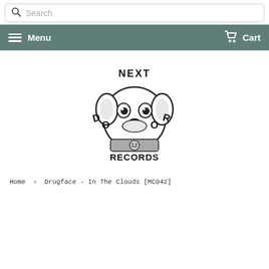Search
Menu  Cart
[Figure (logo): Next Door Records logo: cartoon dog face with text NEXT DOOR RECORDS arranged around it]
Home > Drugface - In The Clouds [MC042]